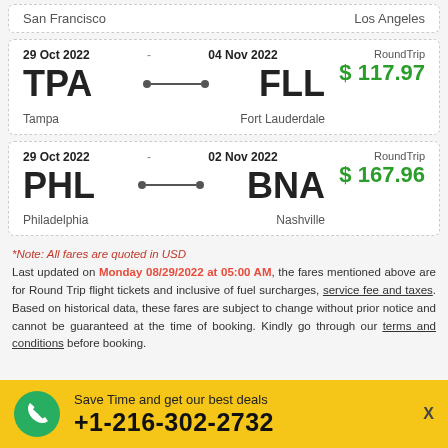| From | To |
| --- | --- |
| San Francisco | Los Angeles |
| Departure | Arrival | From | To | Type | Price |
| --- | --- | --- | --- | --- | --- |
| 29 Oct 2022 | 04 Nov 2022 | TPA Tampa | FLL Fort Lauderdale | RoundTrip | $117.97 |
| Departure | Arrival | From | To | Type | Price |
| --- | --- | --- | --- | --- | --- |
| 29 Oct 2022 | 02 Nov 2022 | PHL Philadelphia | BNA Nashville | RoundTrip | $167.96 |
*Note: All fares are quoted in USD
Last updated on Monday 08/29/2022 at 05:00 AM, the fares mentioned above are for Round Trip flight tickets and inclusive of fuel surcharges, service fee and taxes. Based on historical data, these fares are subject to change without prior notice and cannot be guaranteed at the time of booking. Kindly go through our terms and conditions before booking.
Save Time and get our best deals +1-216-302-2732